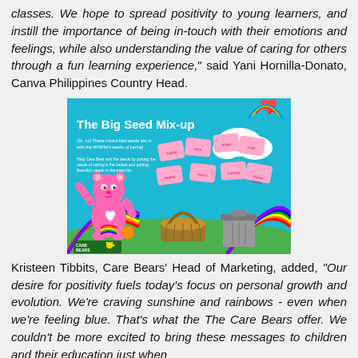classes. We hope to spread positivity to young learners, and instill the importance of being in-touch with their emotions and feelings, while also understanding the value of caring for others through a fun learning experience," said Yani Hornilla-Donato, Canva Philippines Country Head.
[Figure (illustration): Care Bears educational game image titled 'The Big Seed Mix-up' showing a pink Care Bear character with floating seed cards, a basket, and a trash can on a colorful background with rainbows and clouds. Care Bears logo in lower left.]
Kristeen Tibbits, Care Bears' Head of Marketing, added, "Our desire for positivity fuels today's focus on personal growth and evolution. We're craving sunshine and rainbows - even when we're feeling blue. That's what the The Care Bears offer. We couldn't be more excited to bring these messages to children and their education just when they need it most," she added. This